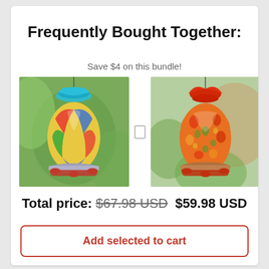Frequently Bought Together:
Save $4 on this bundle!
[Figure (photo): Two colorful hand-blown glass hummingbird feeders side by side. Left: blue-topped feeder with multicolor swirl glass body, hanging hook, pink flower ports. Right: red-topped feeder with orange/red speckled glass body, hanging hook, red flower ports. A small checkbox icon between them.]
Total price: $67.98 USD $59.98 USD
Add selected to cart